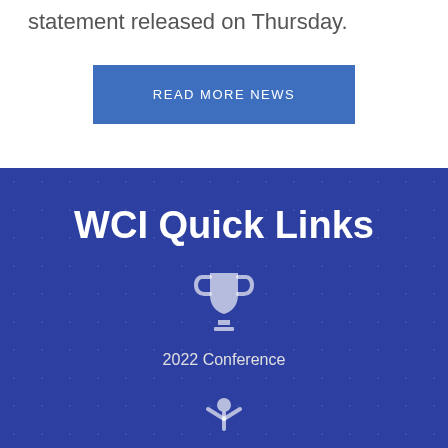statement released on Thursday.
READ MORE NEWS
WCI Quick Links
[Figure (illustration): Trophy cup icon in light gray/white, centered on blue background]
2022 Conference
[Figure (illustration): Person with raised arms icon in light gray/white, centered on blue background]